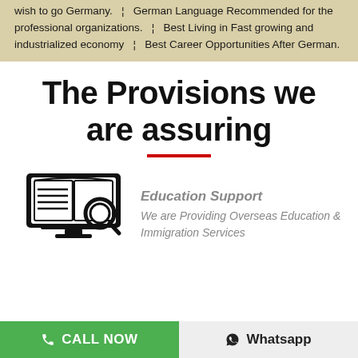wish to go Germany. ¦ German Language Recommended for the professional organizations. ¦ Best Living in Fast growing and industrialized economy ¦ Best Career Opportunities After German.
The Provisions we are assuring
[Figure (illustration): Black and white icon of an open book with lines on a monitor/screen with a magnifying glass]
Education Support
We are Providing Overseas Education & Immigration Services
CALL NOW
Whatsapp